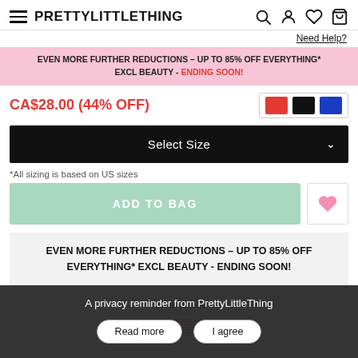PRETTYLITTLETHING
Need Help?
EVEN MORE FURTHER REDUCTIONS – UP TO 85% OFF EVERYTHING* EXCL BEAUTY - ENDING SOON!
CA$28.00 (44% OFF)
Select Size
*All sizing is based on US sizes
ADD TO BAG
EVEN MORE FURTHER REDUCTIONS – UP TO 85% OFF EVERYTHING* EXCL BEAUTY - ENDING SOON!
Size Guide
A privacy reminder from PrettyLittleThing
Read more
I agree